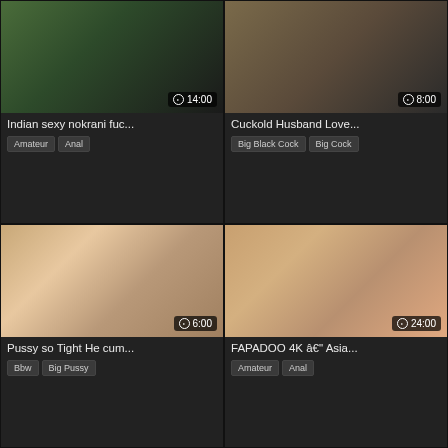[Figure (photo): Video thumbnail - Indian adult content, duration 14:00]
Indian sexy nokrani fuc...
Amateur   Anal
[Figure (photo): Video thumbnail - Cuckold adult content, duration 8:00]
Cuckold Husband Love...
Big Black Cock   Big Cock
[Figure (photo): Video thumbnail - BBW adult content, duration 6:00]
Pussy so Tight He cum...
Bbw   Big Pussy
[Figure (photo): Video thumbnail - Asian adult content, duration 24:00]
FAPADOO 4K â€" Asia...
Amateur   Anal